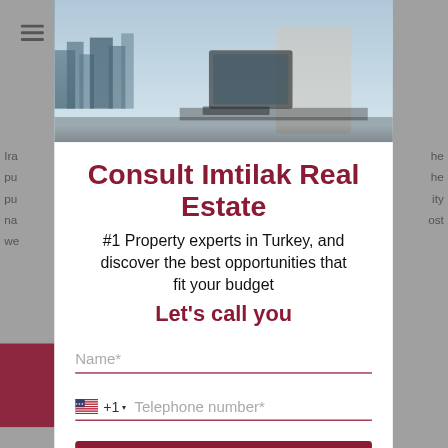[Figure (screenshot): Real estate website modal/popup with a photo of a person at a laptop against a city skyline background, overlaid by a white consultation form card]
Consult Imtilak Real Estate
#1 Property experts in Turkey, and discover the best opportunities that fit your budget
Let's call you
Name*
+1  Telephone number*
I'd like to contact a property a...
The consultation is completely free